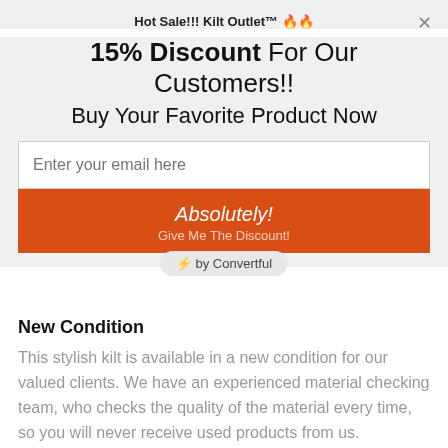Hot Sale!!! Kilt Outlet™ 🔥🔥
15% Discount For Our Customers!!
Buy Your Favorite Product Now
Enter your email here
Absolutely!
Give Me The Discount!
⚡ by Convertful
New Condition
This stylish kilt is available in a new condition for our valued clients. We have an experienced material checking team, who checks the quality of the material every time, so you will never receive used products from us.
Better Price